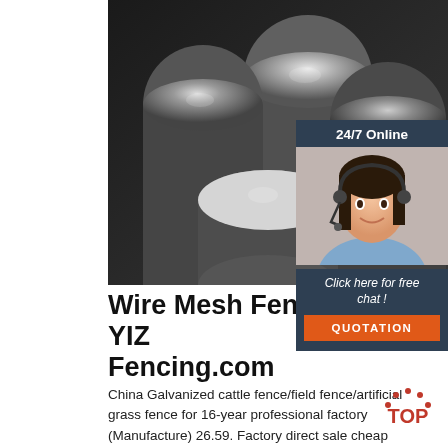[Figure (photo): Black and white photo of multiple shiny steel/metal cylindrical rods arranged together, viewed from an angle showing their circular cross-sections]
[Figure (photo): Sidebar panel showing a woman wearing a headset (customer service representative) with '24/7 Online' header, 'Click here for free chat!' text, and an orange QUOTATION button]
Wire Mesh Fence - YIZE Fencing.com
China Galvanized cattle fence/field fence/artificial grass fence for 16-year professional factory (Manufacture) 26.59. Factory direct sale cheap cattle fence wire mesh for livestock (YIZE) 20.50. lower price Durable galvanized field fence cattle fence grass fence (factory sale.) 20.50